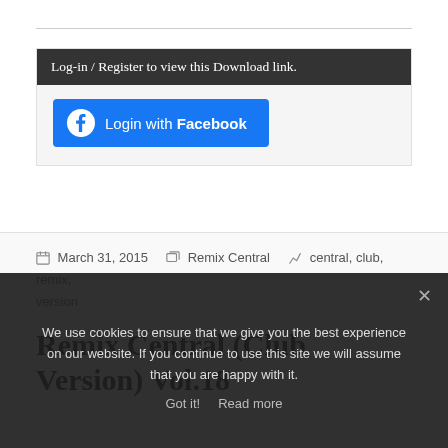Log-in / Register to view this Download link.
[Figure (other): Login with Facebook button — blue rounded rectangle with Facebook circle icon on the left and text 'Login with Facebook']
March 31, 2015   Remix Central   central, club, remix, version
Remix Central (Club Version) Vol.18
We use cookies to ensure that we give you the best experience on our website. If you continue to use this site we will assume that you are happy with it.
Got it!   Read more